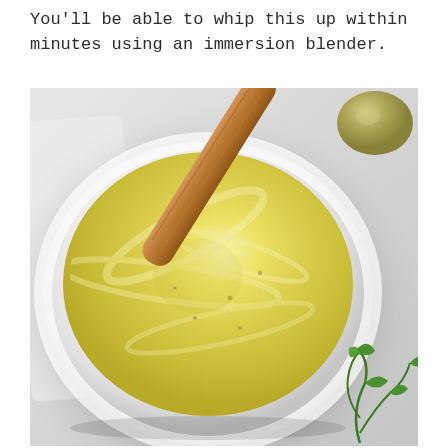You'll be able to whip this up within minutes using an immersion blender.
[Figure (photo): A white ramekin bowl filled with creamy yellow aioli/mayonnaise, with a wooden spoon inserted at an angle. Green herbs visible at bottom right, and a small round object (possibly a garlic bulb) at top right. Light marble surface background.]